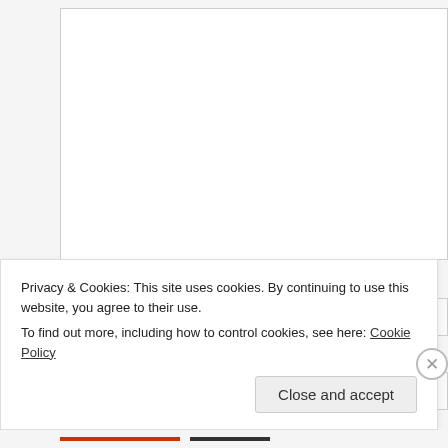[Figure (screenshot): Empty white textarea form field]
Name *
[Figure (screenshot): Name text input field]
Email *
[Figure (screenshot): Email text input field]
Privacy & Cookies: This site uses cookies. By continuing to use this website, you agree to their use.
To find out more, including how to control cookies, see here: Cookie Policy
Close and accept